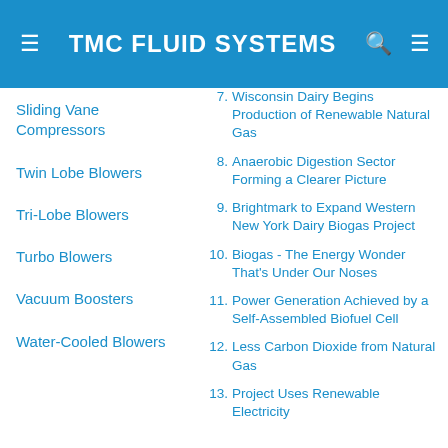TMC FLUID SYSTEMS
Sliding Vane Compressors
Twin Lobe Blowers
Tri-Lobe Blowers
Turbo Blowers
Vacuum Boosters
Water-Cooled Blowers
7. Wisconsin Dairy Begins Production of Renewable Natural Gas
8. Anaerobic Digestion Sector Forming a Clearer Picture
9. Brightmark to Expand Western New York Dairy Biogas Project
10. Biogas - The Energy Wonder That's Under Our Noses
11. Power Generation Achieved by a Self-Assembled Biofuel Cell
12. Less Carbon Dioxide from Natural Gas
13. Project Uses Renewable Electricity